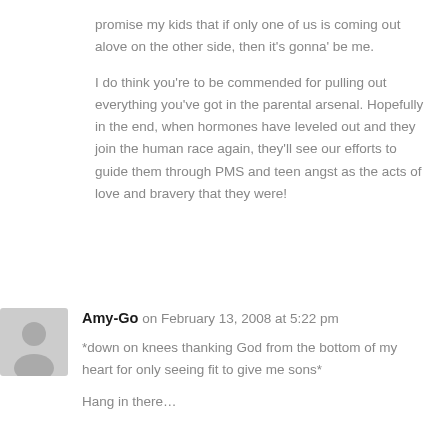promise my kids that if only one of us is coming out alove on the other side, then it's gonna' be me.

I do think you're to be commended for pulling out everything you've got in the parental arsenal. Hopefully in the end, when hormones have leveled out and they join the human race again, they'll see our efforts to guide them through PMS and teen angst as the acts of love and bravery that they were!
Amy-Go on February 13, 2008 at 5:22 pm
*down on knees thanking God from the bottom of my heart for only seeing fit to give me sons*

Hang in there…